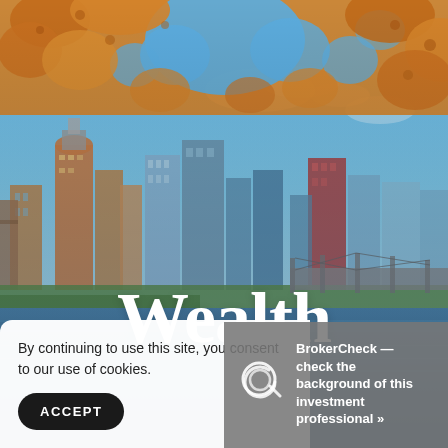[Figure (photo): Autumn city skyline with orange maple leaves framing the top, blue sky, Portland-style buildings, river and bridge in the foreground. 'Wealth' text overlaid in large white serif font.]
Wealth
By continuing to use this site, you consent to our use of cookies.
ACCEPT
BrokerCheck — check the background of this investment professional »»